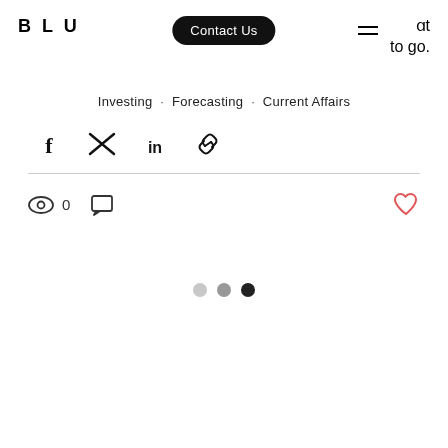BLU | Contact Us | ut to go.
Investing · Forecasting · Current Affairs
[Figure (other): Social share icons: Facebook, Twitter, LinkedIn, Link]
0
[Figure (other): Pagination dots: light, medium, dark]